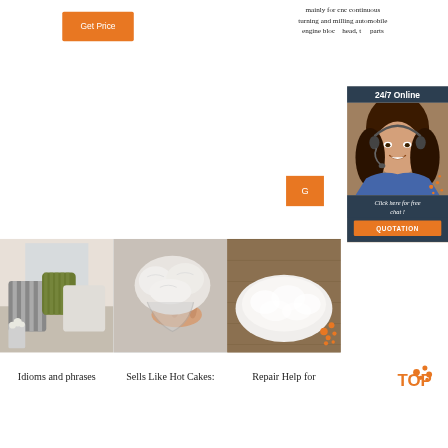[Figure (other): Orange 'Get Price' button on white background]
mainly for cnc continuous turning and milling automobile engine block, head, the parts
[Figure (other): 24/7 Online chat popup with woman wearing headset, dark navy background, 'Click here for free chat!' text, and orange QUOTATION button]
[Figure (photo): Three product/lifestyle photos in a row: decorative pillows on a bed, stuffing/filling material, and a fluffy white cushion on a wooden floor]
Idioms and phrases
Sells Like Hot Cakes:
Repair Help for